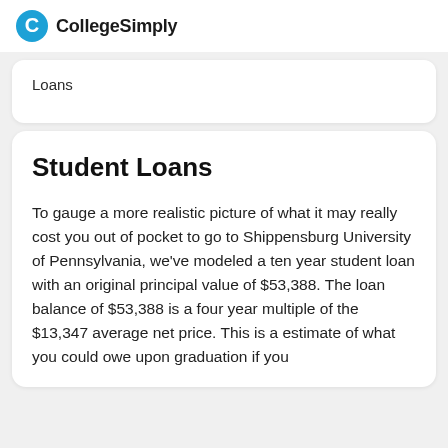CollegeSimply
Loans
Student Loans
To gauge a more realistic picture of what it may really cost you out of pocket to go to Shippensburg University of Pennsylvania, we've modeled a ten year student loan with an original principal value of $53,388. The loan balance of $53,388 is a four year multiple of the $13,347 average net price. This is a estimate of what you could owe upon graduation if you